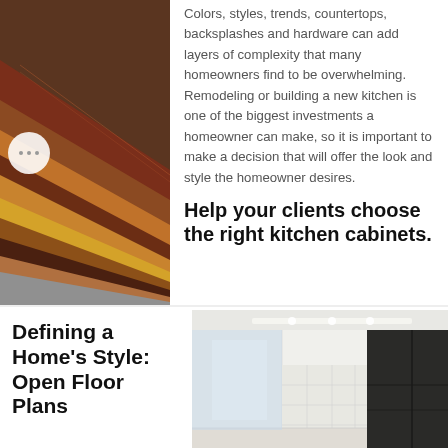[Figure (photo): Fan of wood cabinet samples in various dark wood and beige tones]
Colors, styles, trends, countertops, backsplashes and hardware can add layers of complexity that many homeowners find to be overwhelming. Remodeling or building a new kitchen is one of the biggest investments a homeowner can make, so it is important to make a decision that will offer the look and style the homeowner desires.
Help your clients choose the right kitchen cabinets.
Defining a Home's Style: Open Floor Plans
[Figure (photo): Modern kitchen interior with dark cabinets and white walls]